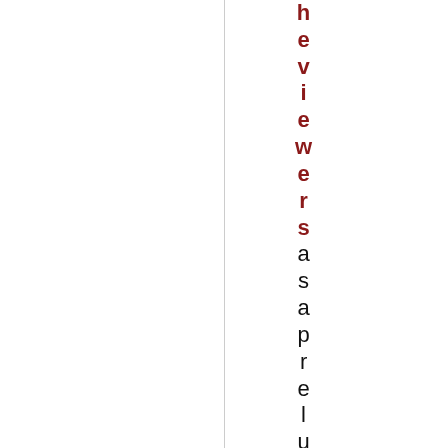h e v i e w e r s a s a p r e l u d e t o t h e r